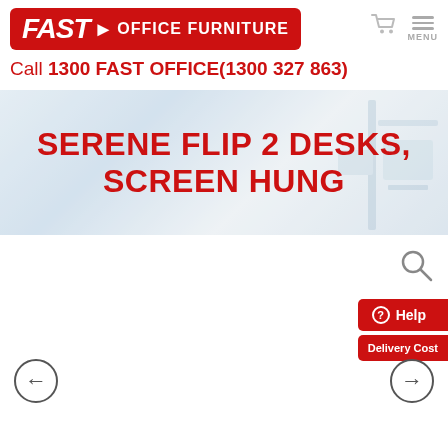[Figure (logo): Fast Office Furniture logo - red rounded rectangle with FAST arrow OFFICE FURNITURE text in white]
Call 1300 FAST OFFICE(1300 327 863)
[Figure (photo): Hero banner with office desk/furniture photo in blue-grey tones with red text overlay: SERENE FLIP 2 DESKS, SCREEN HUNG]
SERENE FLIP 2 DESKS, SCREEN HUNG
[Figure (photo): Product image area - white/empty product display zone with search magnifier icon in top right]
Help
Delivery Cost